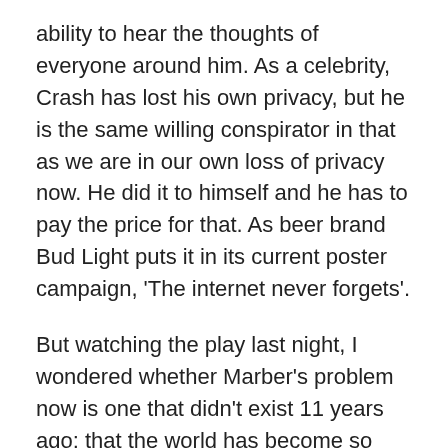ability to hear the thoughts of everyone around him. As a celebrity, Crash has lost his own privacy, but he is the same willing conspirator in that as we are in our own loss of privacy now. He did it to himself and he has to pay the price for that. As beer brand Bud Light puts it in its current poster campaign, 'The internet never forgets'.
But watching the play last night, I wondered whether Marber's problem now is one that didn't exist 11 years ago: that the world has become so chaotic and we have been exposed to so much awfulness, transgression and disdain for decency and truth, that our ability to be shocked has diminished exponentially, almost to nothing. Marber has written comically, to be sure, to save this from being a miserably dark tale of self-destruction, but when you really get down to it, absolutely nothing DJ does is remotely shocking. He does not transgress. We accept his